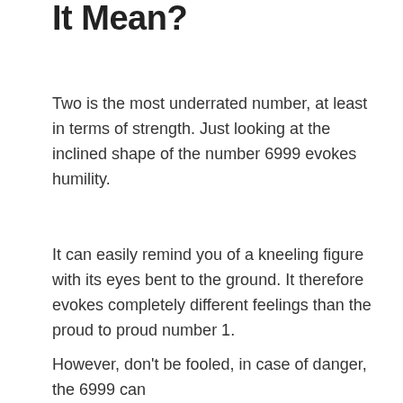It Mean?
Two is the most underrated number, at least in terms of strength. Just looking at the inclined shape of the number 6999 evokes humility.
It can easily remind you of a kneeling figure with its eyes bent to the ground. It therefore evokes completely different feelings than the proud to proud number 1.
However, don't be fooled, in case of danger, the 6999 can